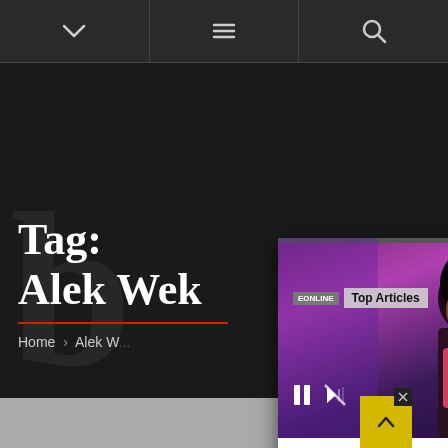Navigation bar with chevron, hamburger menu, and search icon
Tag:
Alek Wek
Home > Alek W...
[Figure (screenshot): Top Articles popup overlay showing Megan Thee Stallion at a P-Valley event with purple/pink lighting, with 'Top Articles' label and article title below]
'Thee Megan Cinematic Universe': Times Megan Thee Stallion Flexed Her Acting Ch...
Scroll to top button (yellow) with X close button